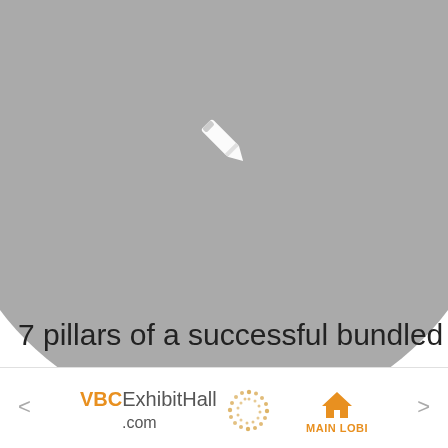[Figure (illustration): Large gray circle with a white pencil/edit icon in the center, partially cropped at top]
7 pillars of a successful bundled
< VBCExhibitHall.com [logo] MAIN LOBI >